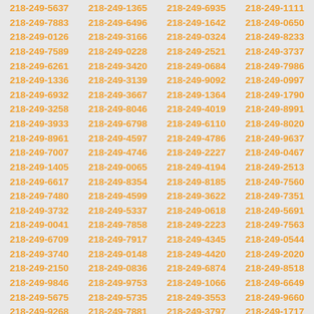218-249-5637 218-249-1365 218-249-6935 218-249-1111 218-249-7883 218-249-6496 218-249-1642 218-249-0650 218-249-0126 218-249-3166 218-249-0324 218-249-8233 218-249-7589 218-249-0228 218-249-2521 218-249-3737 218-249-6261 218-249-3420 218-249-0684 218-249-7986 218-249-1336 218-249-3139 218-249-9092 218-249-0997 218-249-6932 218-249-3667 218-249-1364 218-249-1790 218-249-3258 218-249-8046 218-249-4019 218-249-8991 218-249-3933 218-249-6798 218-249-6110 218-249-8020 218-249-8961 218-249-4597 218-249-4786 218-249-9637 218-249-7007 218-249-4746 218-249-2227 218-249-0467 218-249-1405 218-249-0065 218-249-4194 218-249-2513 218-249-6617 218-249-8354 218-249-8185 218-249-7560 218-249-7480 218-249-4599 218-249-3622 218-249-7351 218-249-3732 218-249-5337 218-249-0618 218-249-5691 218-249-0041 218-249-7858 218-249-2223 218-249-7563 218-249-6709 218-249-7917 218-249-4345 218-249-0544 218-249-3740 218-249-0148 218-249-4420 218-249-2020 218-249-2150 218-249-0836 218-249-6874 218-249-8518 218-249-9846 218-249-9753 218-249-1066 218-249-6649 218-249-5675 218-249-5735 218-249-3553 218-249-9660 218-249-9268 218-249-7881 218-249-3797 218-249-1717 218-249-1096 218-249-7672 218-249-7702 218-249-7321 218-249-0958 218-249-5955 218-249-4223 218-249-9485 218-249-3118 218-249-6734 218-249-2149 218-249-0908 218-249-3653 218-249-6430 218-249-8071 218-249-5407 218-249-8186 218-249-5418 218-249-0424 218-249-2595 218-249-0980 218-249-7553 218-249-0072 218-249-4918 218-249-8202 218-249-5564 218-249-2996 218-249-9232 218-249-2362 218-249-3859 218-249-7557 218-249-2536 218-249-1000 218-249-7704 218-249-4079 218-249-2401